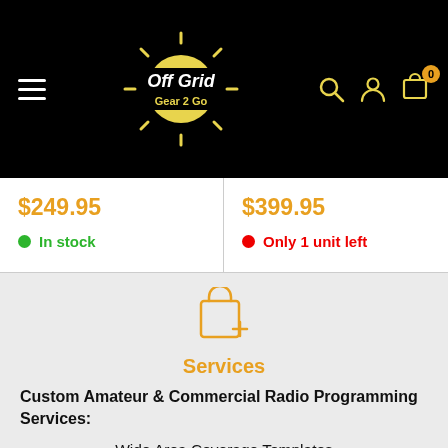Off Grid Gear 2 Go — Navigation bar with logo, search, account, and cart icons
$249.95
In stock
$399.95
Only 1 unit left
[Figure (illustration): Shopping bag with plus sign icon in orange, representing Services]
Services
Custom Amateur & Commercial Radio Programming Services:
Wide Area Coverage Templates
Proximity Area Templates
Travel Route Templates